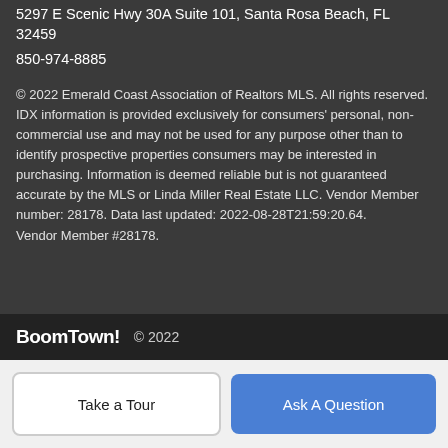5297 E Scenic Hwy 30A Suite 101, Santa Rosa Beach, FL 32459
850-974-8885
© 2022 Emerald Coast Association of Realtors MLS. All rights reserved. IDX information is provided exclusively for consumers' personal, non-commercial use and may not be used for any purpose other than to identify prospective properties consumers may be interested in purchasing. Information is deemed reliable but is not guaranteed accurate by the MLS or Linda Miller Real Estate LLC. Vendor Member number: 28178. Data last updated: 2022-08-28T21:59:20.64.
Vendor Member #28178.
BoomTown! © 2022
Take a Tour
Ask A Question